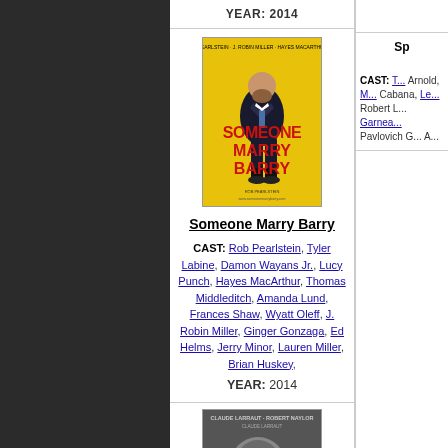YEAR: 2014
[Figure (photo): Movie poster for 'Someone Marry Barry' featuring a man in a suit on yellow background with red text]
Someone Marry Barry
CAST: Rob Pearlstein, Tyler Labine, Damon Wayans Jr., Lucy Punch, Hayes MacArthur, Thomas Middleditch, Amanda Lund, Frances Shaw, Wyatt Oleff, J. Robin Miller, Ginger Gonzaga, Ed Helms, Jerry Minor, Lauren Miller, Brian Huskey,
YEAR: 2014
Sp
CAST: T... Arnold, M... Cabana, Le... Robert L... Garnea... Pavlovich G... A...
[Figure (photo): Black and white movie poster showing a man with glasses and beard]